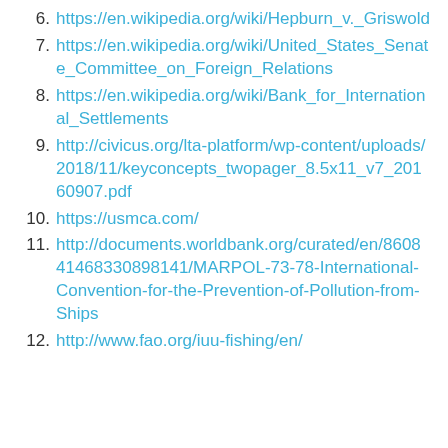6. https://en.wikipedia.org/wiki/Hepburn_v._Griswold
7. https://en.wikipedia.org/wiki/United_States_Senate_Committee_on_Foreign_Relations
8. https://en.wikipedia.org/wiki/Bank_for_International_Settlements
9. http://civicus.org/lta-platform/wp-content/uploads/2018/11/keyconcepts_twopager_8.5x11_v7_20160907.pdf
10. https://usmca.com/
11. http://documents.worldbank.org/curated/en/860841468330898141/MARPOL-73-78-International-Convention-for-the-Prevention-of-Pollution-from-Ships
12. http://www.fao.org/iuu-fishing/en/